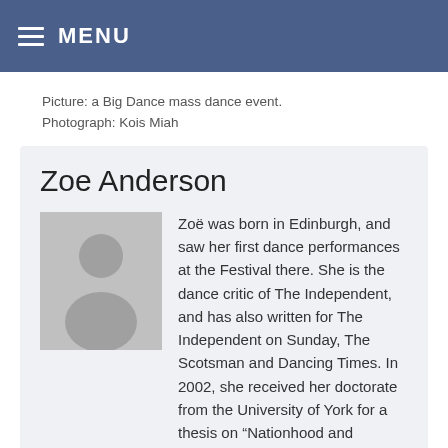MENU
Picture: a Big Dance mass dance event. Photograph: Kois Miah
Zoe Anderson
[Figure (photo): Placeholder profile photo showing silhouette of a person on grey background]
Zoë was born in Edinburgh, and saw her first dance performances at the Festival there. She is the dance critic of The Independent, and has also written for The Independent on Sunday, The Scotsman and Dancing Times. In 2002, she received her doctorate from the University of York for a thesis on “Nationhood and